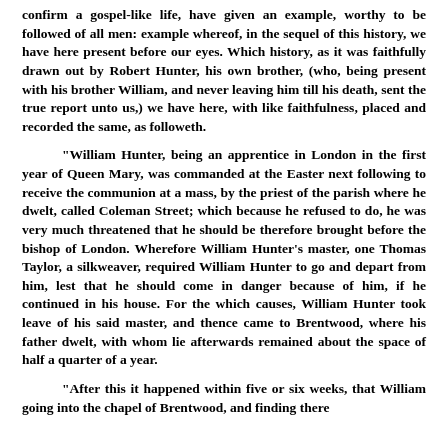confirm a gospel-like life, have given an example, worthy to be followed of all men: example whereof, in the sequel of this history, we have here present before our eyes. Which history, as it was faithfully drawn out by Robert Hunter, his own brother, (who, being present with his brother William, and never leaving him till his death, sent the true report unto us,) we have here, with like faithfulness, placed and recorded the same, as followeth.
"William Hunter, being an apprentice in London in the first year of Queen Mary, was commanded at the Easter next following to receive the communion at a mass, by the priest of the parish where he dwelt, called Coleman Street; which because he refused to do, he was very much threatened that he should be therefore brought before the bishop of London. Wherefore William Hunter's master, one Thomas Taylor, a silkweaver, required William Hunter to go and depart from him, lest that he should come in danger because of him, if he continued in his house. For the which causes, William Hunter took leave of his said master, and thence came to Brentwood, where his father dwelt, with whom lie afterwards remained about the space of half a quarter of a year.
"After this it happened within five or six weeks, that William going into the chapel of Brentwood, and finding there